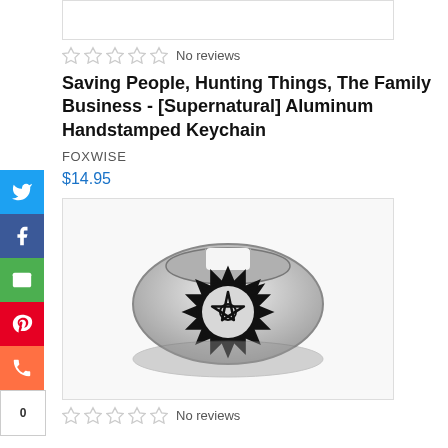[Figure (photo): Top partial product image (cropped, white background)]
No reviews
Saving People, Hunting Things, The Family Business - [Supernatural] Aluminum Handstamped Keychain
FOXWISE
$14.95
[Figure (photo): Silver aluminum ring/cuff with Supernatural anti-possession symbol (sun with pentagram) stamped on it, on white background]
No reviews